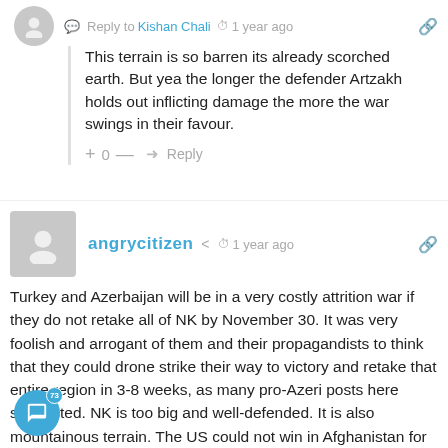Reply to Kishan Chali · 1 year ago
This terrain is so barren its already scorched earth. But yea the longer the defender Artzakh holds out inflicting damage the more the war swings in their favour.
+ 0 — Reply
angrycitizen · 1 year ago
Turkey and Azerbaijan will be in a very costly attrition war if they do not retake all of NK by November 30. It was very foolish and arrogant of them and their propagandists to think that they could drone strike their way to victory and retake that entire region in 3-8 weeks, as many pro-Azeri posts here suggested. NK is too big and well-defended. It is also mountainous terrain. The US could not win in Afghanistan for 20 years even with air superiority and drone strikes night and day. The Russians and Syrians took at least two years to reclaim Aleppo with a few months besieging it